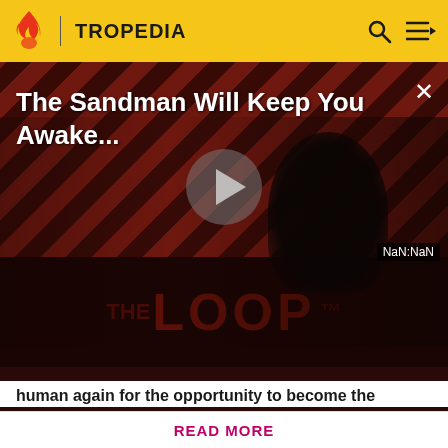TROPEDIA
[Figure (screenshot): Video player screenshot showing 'The Sandman Will Keep You Awake...' with a dark figure in black on a diagonal red/dark striped background, a play button in the center, 'THE LOOP' text at the bottom, and NaN:NaN timestamp. Close button (X) in top right.]
human again for the opportunity to become the
Before making a single edit, Tropedia EXPECTS our site policy and manual of style to be followed. Failure to do so may
READ MORE